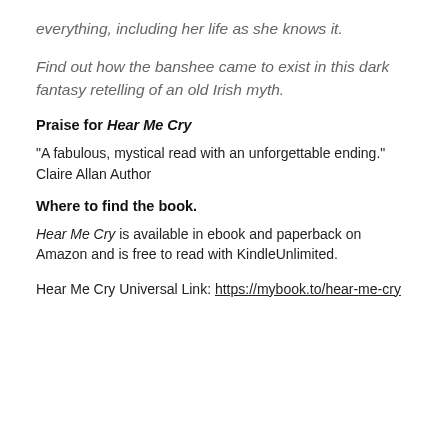everything, including her life as she knows it.
Find out how the banshee came to exist in this dark fantasy retelling of an old Irish myth.
Praise for Hear Me Cry
“A fabulous, mystical read with an unforgettable ending.” Claire Allan Author
Where to find the book.
Hear Me Cry is available in ebook and paperback on Amazon and is free to read with KindleUnlimited.
Hear Me Cry Universal Link: https://mybook.to/hear-me-cry